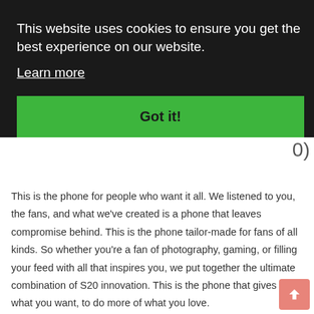This website uses cookies to ensure you get the best experience on our website.
Learn more
Got it!
0)
This is the phone for people who want it all. We listened to you, the fans, and what we've created is a phone that leaves compromise behind. This is the phone tailor-made for fans of all kinds. So whether you're a fan of photography, gaming, or filling your feed with all that inspires you, we put together the ultimate combination of S20 innovation. This is the phone that gives you what you want, to do more of what you love.
Shades to make the rainbow jealous
Your phone almost never leaves your hand, so it should be